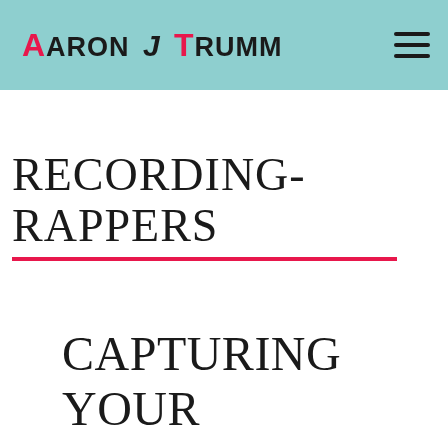Aaron J Trumm
RECORDING-RAPPERS
CAPTURING YOUR VOICE